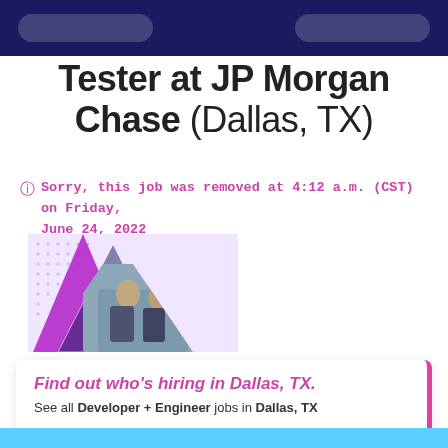Tester at JP Morgan Chase (Dallas, TX)
Sorry, this job was removed at 4:12 a.m. (CST) on Friday, June 24, 2022
[Figure (illustration): Decorative ad image with purple triangle shapes and a photo of people working, with dotted pattern background]
Find out who's hiring in Dallas, TX. See all Developer + Engineer jobs in Dallas, TX
VIEW 47977 JOBS →